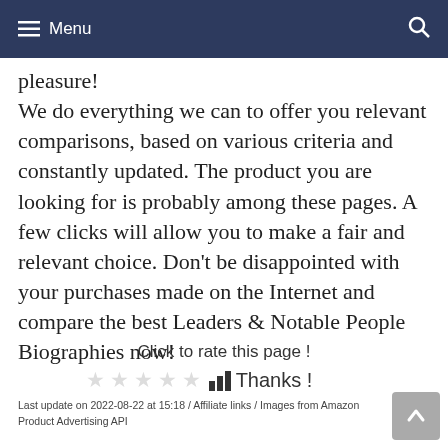Menu
pleasure!
We do everything we can to offer you relevant comparisons, based on various criteria and constantly updated. The product you are looking for is probably among these pages. A few clicks will allow you to make a fair and relevant choice. Don’t be disappointed with your purchases made on the Internet and compare the best Leaders & Notable People Biographies now!
Click to rate this page !
★★★★★ Thanks !
Last update on 2022-08-22 at 15:18 / Affiliate links / Images from Amazon Product Advertising API